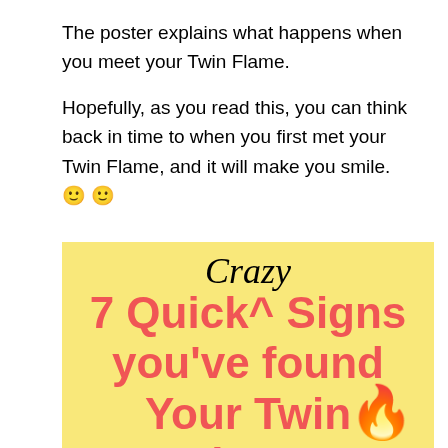The poster explains what happens when you meet your Twin Flame.

Hopefully, as you read this, you can think back in time to when you first met your Twin Flame, and it will make you smile. 🙂 🙂
[Figure (infographic): Yellow background poster with script 'Crazy' in black cursive above bold coral/salmon text reading '7 Quick^ Signs you've found Your Twin Flame' with a flame emoji in the bottom right corner.]